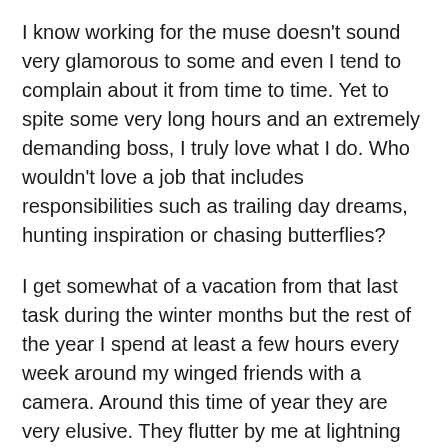I know working for the muse doesn't sound very glamorous to some and even I tend to complain about it from time to time. Yet to spite some very long hours and an extremely demanding boss, I truly love what I do. Who wouldn't love a job that includes responsibilities such as trailing day dreams, hunting inspiration or chasing butterflies?
I get somewhat of a vacation from that last task during the winter months but the rest of the year I spend at least a few hours every week around my winged friends with a camera. Around this time of year they are very elusive. They flutter by me at lightning speed and don't stay in one place for too long. I've learned to be patient and not to worry if I don't get a good photograph. I've learned that photographs are only one of many rewards for chasing butterflies.